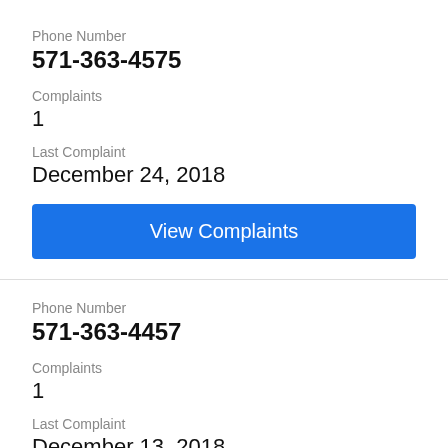Phone Number
571-363-4575
Complaints
1
Last Complaint
December 24, 2018
View Complaints
Phone Number
571-363-4457
Complaints
1
Last Complaint
December 13, 2018
View Complaints